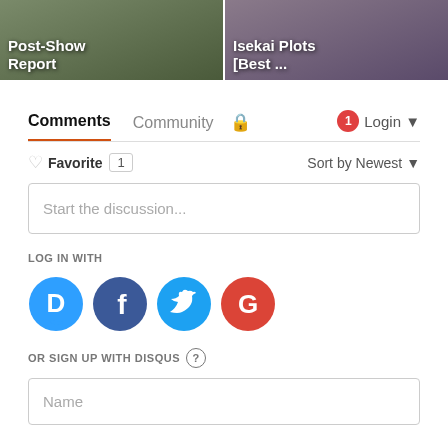[Figure (screenshot): Two thumbnail images side by side at top: left shows 'Post-Show Report' text overlay on a store/market scene, right shows 'Isekai Plots [Best ...' text overlay on a darker scene]
Comments   Community   🔒   1  Login ▾
♡ Favorite  1            Sort by Newest ▾
Start the discussion...
LOG IN WITH
[Figure (logo): Four social login icons: Disqus (blue speech bubble with D), Facebook (dark blue circle with f), Twitter (cyan circle with bird), Google (red circle with G)]
OR SIGN UP WITH DISQUS ?
Name